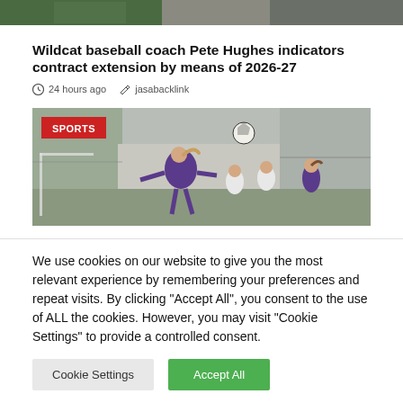[Figure (photo): Top partial image of a sports scene with green and grey tones]
Wildcat baseball coach Pete Hughes indicators contract extension by means of 2026-27
24 hours ago   jasabacklink
[Figure (photo): Sports photo showing female soccer players in action on a field, with a ball in the air. A red badge reading 'SPORTS' is overlaid on the top-left corner.]
We use cookies on our website to give you the most relevant experience by remembering your preferences and repeat visits. By clicking "Accept All", you consent to the use of ALL the cookies. However, you may visit "Cookie Settings" to provide a controlled consent.
Cookie Settings   Accept All